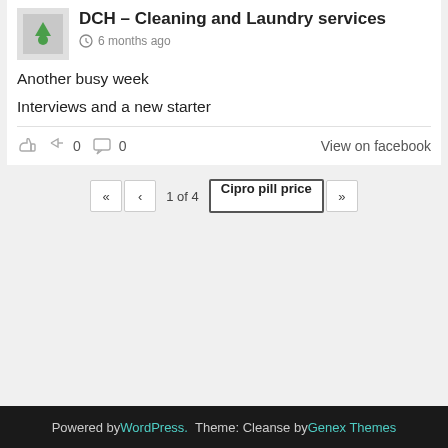DCH – Cleaning and Laundry services
6 months ago
Another busy week
Interviews and a new starter
0   0   View on facebook
« ‹ 1 of 4   Cipro pill price   »
Powered by WordPress. Theme: Cleanse by Genex Themes